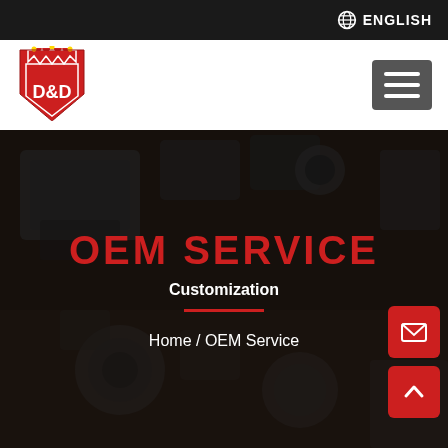ENGLISH
[Figure (logo): D&D logo: red shield with crown and D&D text]
[Figure (photo): Dark background photo of mechanical hardware parts including locks and cylindrical components]
OEM SERVICE
Customization
Home  /  OEM Service